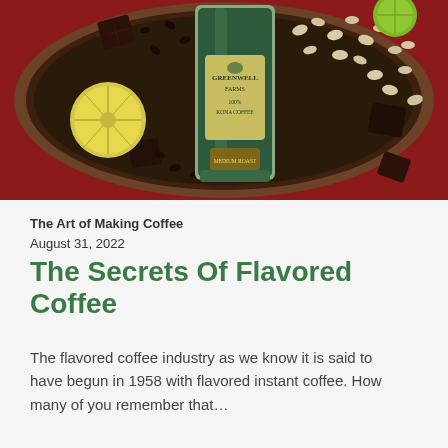[Figure (photo): Overhead photo of a wooden bowl filled with coffee beans, macadamia nuts, chocolate pieces, and lemon/lime slices, with a green Greenwell Farms 100% Kona Coffee bag prominently placed in the center.]
The Art of Making Coffee
August 31, 2022
The Secrets Of Flavored Coffee
The flavored coffee industry as we know it is said to have begun in 1958 with flavored instant coffee. How many of you remember that...